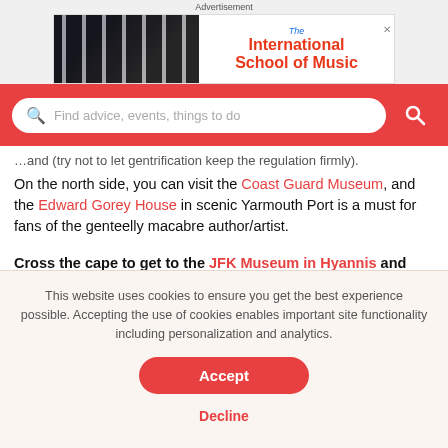[Figure (screenshot): Advertisement banner for The International School of Music with photo of girl playing keyboard piano]
[Figure (screenshot): Search bar with placeholder text 'Find advice, events, things to do' on red background]
On the north side, you can visit the Coast Guard Museum, and the Edward Gorey House in scenic Yarmouth Port is a must for fans of the genteelly macabre author/artist.
Cross the cape to get to the JFK Museum in Hyannis and
This website uses cookies to ensure you get the best experience possible. Accepting the use of cookies enables important site functionality including personalization and analytics.
Accept
Decline